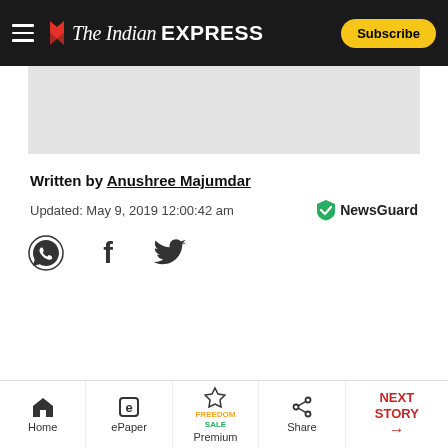The Indian EXPRESS — Subscribe
[Figure (other): Gray advertisement/image placeholder area]
Written by Anushree Majumdar
Updated: May 9, 2019 12:00:42 am
[Figure (logo): NewsGuard logo with green shield checkmark]
[Figure (infographic): Social sharing icons: WhatsApp, Facebook, Twitter]
Home | ePaper | Premium (Freedom Sale) | Share | NEXT STORY